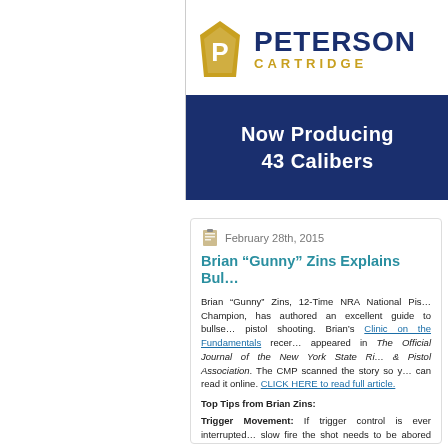[Figure (logo): Peterson Cartridge logo with gold keystone P icon and dark navy brand name text, with tagline 'Now Producing 43 Calibers' on blue background]
February 28th, 2015
Brian “Gunny” Zins Explains Bul…
Brian “Gunny” Zins, 12-Time NRA National Pistol Champion, has authored an excellent guide to bullseye pistol shooting. Brian’s Clinic on the Fundamentals recently appeared in The Official Journal of the New York State Rifle & Pistol Association. The CMP scanned the story so you can read it online. CLICK HERE to read full article.
Top Tips from Brian Zins:
Trigger Movement: If trigger control is ever interrupted slow fire the shot needs to be abored and the shot start…